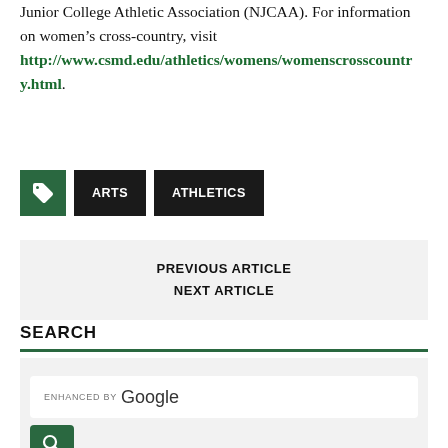Junior College Athletic Association (NJCAA). For information on women’s cross-country, visit http://www.csmd.edu/athletics/womens/womenscrosscountry.html.
ARTS
ATHLETICS
PREVIOUS ARTICLE
NEXT ARTICLE
SEARCH
ENHANCED BY Google